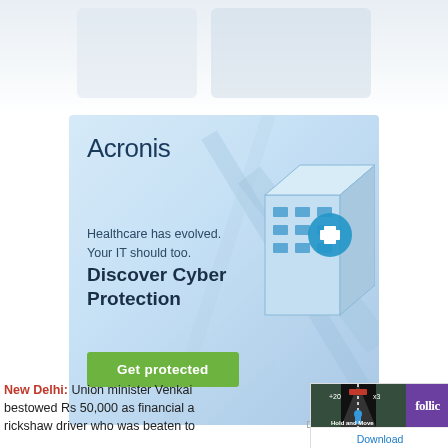[Figure (screenshot): Faded top strip showing partial screenshots of news article cards with images]
[Figure (infographic): Acronis advertisement banner with light blue gradient background, isometric building illustration with medical cross symbol, text: Acronis, Healthcare has evolved. Your IT should too. Discover Cyber Protection, Get protected button]
New Delhi: Union minister Venkai bestowed Rs 50,000 as financial a rickshaw driver who was beaten to
[Figure (screenshot): Overlay ad showing a dark road game screenshot labelled Hold and Move, purple Follic app icon, and Download link]